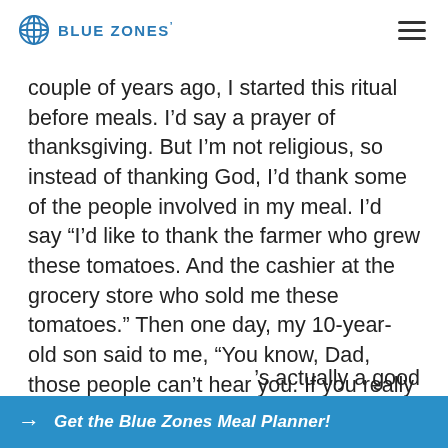BLUE ZONES'
couple of years ago, I started this ritual before meals. I’d say a prayer of thanksgiving. But I’m not religious, so instead of thanking God, I’d thank some of the people involved in my meal. I’d say “I’d like to thank the farmer who grew these tomatoes. And the cashier at the grocery store who sold me these tomatoes.” Then one day, my 10-year-old son said to me, “You know, Dad, those people can’t hear you. If you really cared, you’d go and thank them in
’s actually a good
Get the Blue Zones Meal Planner!